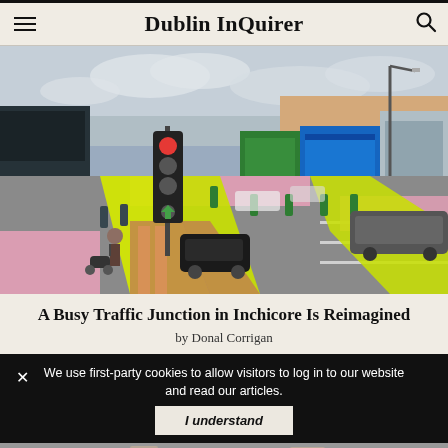Dublin InQuirer
[Figure (photo): Street-level render of a busy traffic junction in Inchicore, Dublin, reimagined with colourful pavement markings — pink, yellow/lime, and brown/orange areas for pedestrians and cyclists. Traffic lights visible, shopfronts on the right side of the street, cars and a person with a pram on the left.]
A Busy Traffic Junction in Inchicore Is Reimagined
by Donal Corrigan
We use first-party cookies to allow visitors to log in to our website and read our articles.
I understand